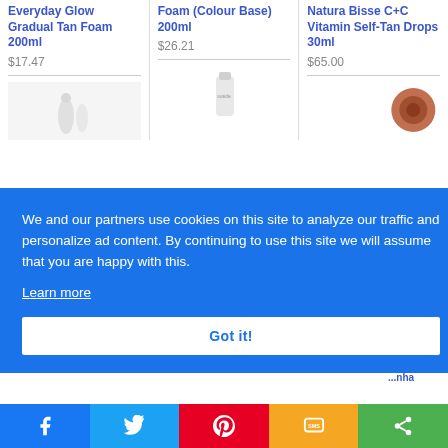Everyday Glow Gradual Tan Foam 200ml
$17.47
Foam (Colour Base) 200ml
$26.21
Natura Bisse C+C Vitamin Self-Tan Drops 30ml
$65.00
[Figure (screenshot): Product images partially visible behind cookie consent banner]
We and our partners use cookies on this site to analyze our traffic and personalize ad content. By continuing to use this site we will assume that you are happy with this.
Learn more
Got it!
[Figure (infographic): Social sharing bar with Facebook, Twitter, Pinterest, SMS, and share icons]